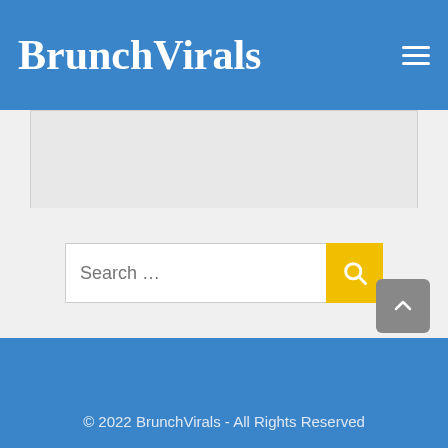BrunchVirals
[Figure (other): Advertisement placeholder area — light gray rectangle]
This site uses Akismet to reduce spam. Learn how your comment data is processed.
[Figure (other): Search bar with text input 'Search ...' and yellow search button]
© 2022 BrunchVirals - All Rights Reserved